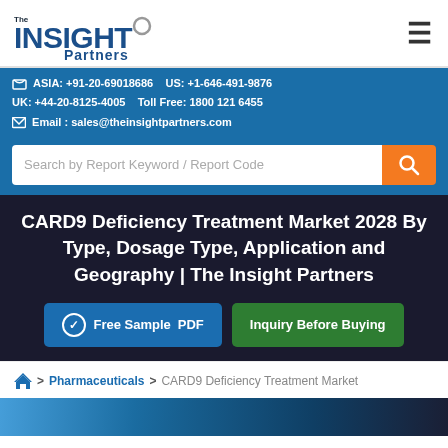The Insight Partners — navigation header with logo and hamburger menu
ASIA: +91-20-69018686   US: +1-646-491-9876   UK: +44-20-8125-4005   Toll Free: 1800 121 6455   Email : sales@theinsightpartners.com
Search by Report Keyword / Report Code
CARD9 Deficiency Treatment Market 2028 By Type, Dosage Type, Application and Geography | The Insight Partners
Free Sample PDF   Inquiry Before Buying
> Pharmaceuticals > CARD9 Deficiency Treatment Market